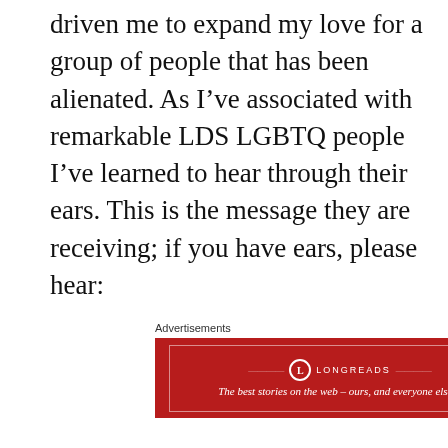driven me to expand my love for a group of people that has been alienated. As I've associated with remarkable LDS LGBTQ people I've learned to hear through their ears. This is the message they are receiving; if you have ears, please hear:
[Figure (other): Advertisement banner for Longreads: red background with white border, Longreads logo and tagline 'The best stories on the web – ours, and everyone else's.']
According to the LDS church, the homosexual sex drive can never lead to something holy, but only to evil. Should a homosexual enter a monogamous, same-sex marriage as a virgin, s/he is not applauded as are heterosexuals who do this, but are excommunicated and stripped of eternal blessings. At the same time,